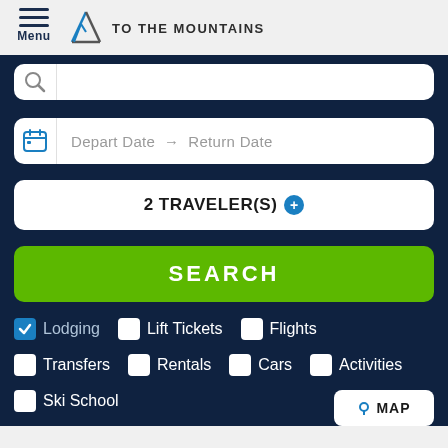[Figure (logo): To The Mountains logo with mountain triangle icon and hamburger menu icon]
Depart Date → Return Date
2 TRAVELER(S)
SEARCH
✓ Lodging   □ Lift Tickets   □ Flights
□ Transfers   □ Rentals   □ Cars   □ Activities
□ Ski School
MAP